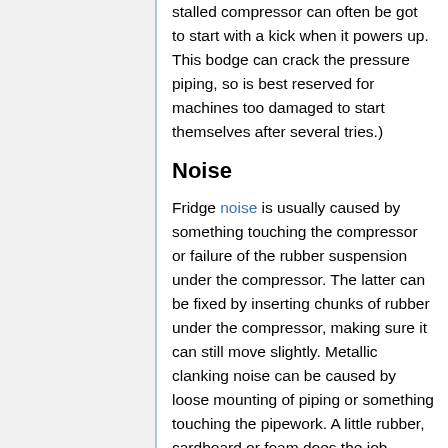stalled compressor can often be got to start with a kick when it powers up. This bodge can crack the pressure piping, so is best reserved for machines too damaged to start themselves after several tries.)
Noise
Fridge noise is usually caused by something touching the compressor or failure of the rubber suspension under the compressor. The latter can be fixed by inserting chunks of rubber under the compressor, making sure it can still move slightly. Metallic clanking noise can be caused by loose mounting of piping or something touching the pipework. A little rubber, cardboard or foam does the job.
Refrigerant loss